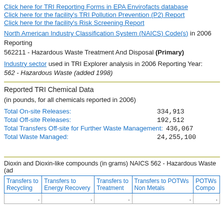Click here for TRI Reporting Forms in EPA Envirofacts database
Click here for the facility's TRI Pollution Prevention (P2) Report
Click here for the facility's Risk Screening Report
North American Industry Classification System (NAICS) Code(s) in 2006 Reporting Year:
562211 - Hazardous Waste Treatment And Disposal (Primary)
Industry sector used in TRI Explorer analysis in 2006 Reporting Year:
562 - Hazardous Waste (added 1998)
Reported TRI Chemical Data
(in pounds, for all chemicals reported in 2006)
Total On-site Releases:    334,913
Total Off-site Releases:    192,512
Total Transfers Off-site for Further Waste Management:    436,067
Total Waste Managed:    24,255,100
Dioxin and Dioxin-like compounds (in grams) NAICS 562 - Hazardous Waste (added 1998)
| Transfers to Recycling | Transfers to Energy Recovery | Transfers to Treatment | Transfers to POTWs Non Metals | POTWs Compo... |
| --- | --- | --- | --- | --- |
| . | . | . | . | . |